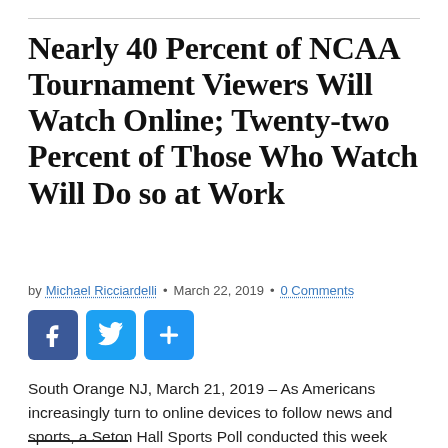Nearly 40 Percent of NCAA Tournament Viewers Will Watch Online; Twenty-two Percent of Those Who Watch Will Do so at Work
by Michael Ricciardelli • March 22, 2019 • 0 Comments
[Figure (other): Social sharing buttons: Facebook (blue), Twitter (light blue), and a share/add button (blue)]
South Orange NJ, March 21, 2019 – As Americans increasingly turn to online devices to follow news and sports, a Seton Hall Sports Poll conducted this week reveals that 38 percent of those who will be watching the NCAA Men's…